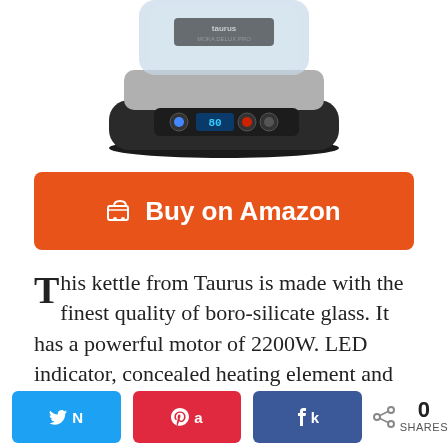[Figure (photo): Bottom portion of a Taurus electric kettle with digital display showing 80, control buttons, and stainless steel/black base]
Buy on Amazon
This kettle from Taurus is made with the finest quality of boro-silicate glass. It has a powerful motor of 2200W. LED indicator, concealed heating element and auto shut-off features make it easy to use and clean. It has a 360-degree cordless base. The stand out feature of the kettle is the digital temperature control of
0 SHARES